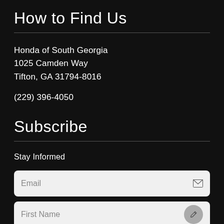How to Find Us
Honda of South Georgia
1025 Camden Way
Tifton, GA 31794-8016
(229) 396-4050
Subscribe
Stay Informed
Email
First Name